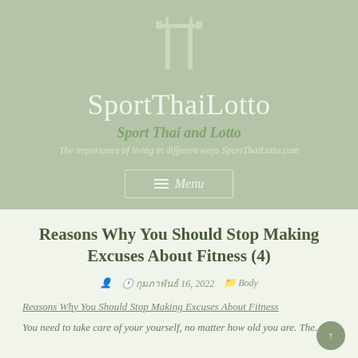[Figure (logo): SportThaiLotto website logo: a traditional Thai gate/pillar symbol in light sage green on a sage green background]
SportThaiLotto
Sport Thai and Lotto
The importance of living in different ways SportThaiLotto.com
Menu
Reasons Why You Should Stop Making Excuses About Fitness (4)
กุมภาพันธ์ 16, 2022   Body
Reasons Why You Should Stop Making Excuses About Fitness
You need to take care of your yourself, no matter how old you are. The...